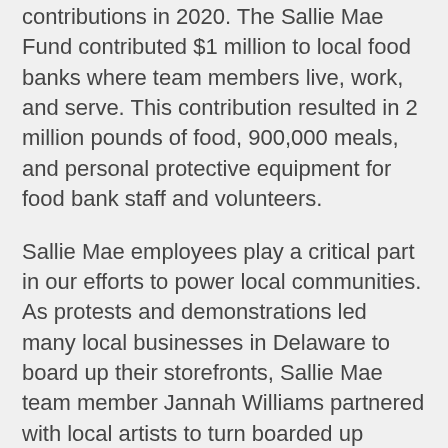contributions in 2020. The Sallie Mae Fund contributed $1 million to local food banks where team members live, work, and serve. This contribution resulted in 2 million pounds of food, 900,000 meals, and personal protective equipment for food bank staff and volunteers.
Sallie Mae employees play a critical part in our efforts to power local communities. As protests and demonstrations led many local businesses in Delaware to board up their storefronts, Sallie Mae team member Jannah Williams partnered with local artists to turn boarded up storefronts into inspirational canvases. Her mural addressed our nation's history of racial injustice and combined a collection of newspaper articles covering